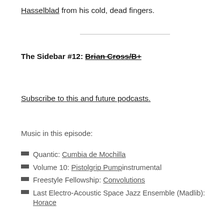Hasselblad from his cold, dead fingers.
The Sidebar #12: Brian Cross/B+
Subscribe to this and future podcasts.
Music in this episode:
Quantic: Cumbia de Mochilla
Volume 10: Pistolgrip Pumpinstrumental
Freestyle Fellowship: Convolutions
Last Electro-Acoustic Space Jazz Ensemble (Madlib): Horace